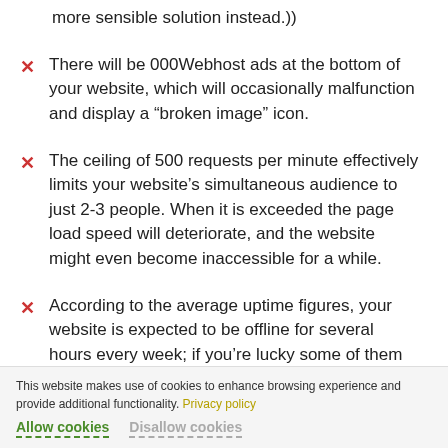more sensible solution instead.)
There will be 000Webhost ads at the bottom of your website, which will occasionally malfunction and display a “broken image” icon.
The ceiling of 500 requests per minute effectively limits your website’s simultaneous audience to just 2-3 people. When it is exceeded the page load speed will deteriorate, and the website might even become inaccessible for a while.
According to the average uptime figures, your website is expected to be offline for several hours every week; if you’re lucky some of them will be at night.
This website makes use of cookies to enhance browsing experience and provide additional functionality. Privacy policy
Allow cookies   Disallow cookies